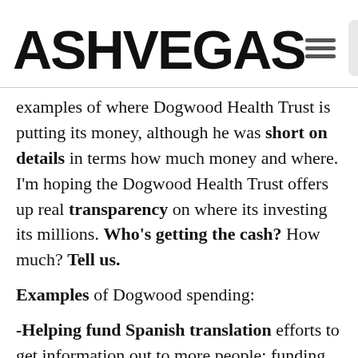ASHVEGAS
examples of where Dogwood Health Trust is putting its money, although he was short on details in terms how much money and where. I'm hoping the Dogwood Health Trust offers up real transparency on where its investing its millions. Who's getting the cash? How much? Tell us.
Examples of Dogwood spending:
-Helping fund Spanish translation efforts to get information out to more people; funding confidante to reach able to get into